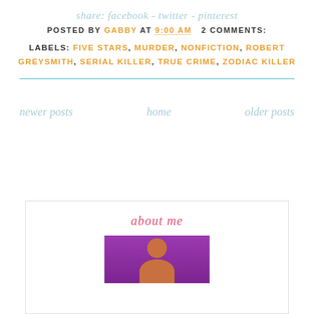share: facebook - twitter - pinterest
POSTED BY GABBY AT 9:00 AM   2 COMMENTS:
LABELS: FIVE STARS, MURDER, NONFICTION, ROBERT GREYSMITH, SERIAL KILLER, TRUE CRIME, ZODIAC KILLER
newer posts
home
older posts
about me
[Figure (photo): Profile photo of a person against a purple background]